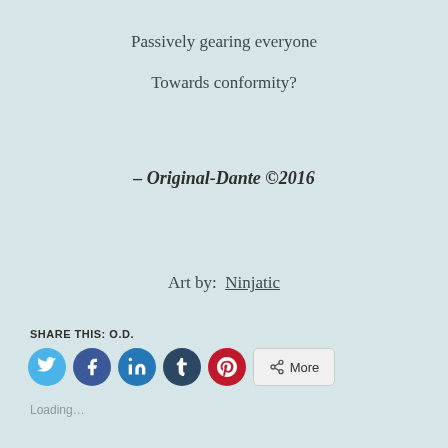Passively gearing everyone

Towards conformity?
– Original-Dante ©2016
Art by:  Ninjatic
SHARE THIS: O.D.
[Figure (other): Social share buttons: Twitter (blue circle), Facebook (dark blue circle), LinkedIn (teal circle), Tumblr (dark navy circle), Pinterest (red circle), and a More button with share icon]
Loading...